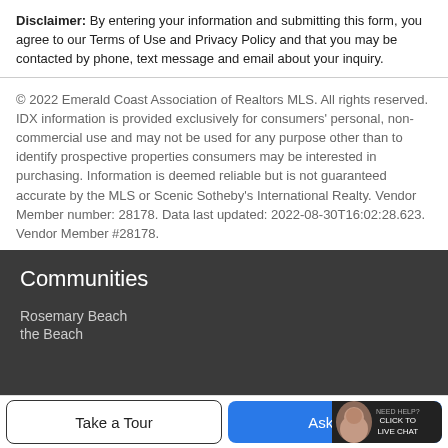Disclaimer: By entering your information and submitting this form, you agree to our Terms of Use and Privacy Policy and that you may be contacted by phone, text message and email about your inquiry.
© 2022 Emerald Coast Association of Realtors MLS. All rights reserved. IDX information is provided exclusively for consumers' personal, non-commercial use and may not be used for any purpose other than to identify prospective properties consumers may be interested in purchasing. Information is deemed reliable but is not guaranteed accurate by the MLS or Scenic Sotheby's International Realty. Vendor Member number: 28178. Data last updated: 2022-08-30T16:02:28.623. Vendor Member #28178.
Communities
Rosemary Beach
the Beach
Take a Tour
Ask A Q...